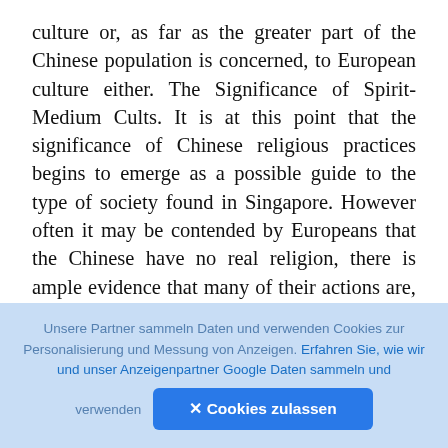culture or, as far as the greater part of the Chinese population is concerned, to European culture either. The Significance of Spirit-Medium Cults. It is at this point that the significance of Chinese religious practices begins to emerge as a possible guide to the type of society found in Singapore. However often it may be contended by Europeans that the Chinese have no real religion, there is ample evidence that many of their actions are, in fact, motivated by attitudes that are undeniably religious. The Chinese, in common with peoples elsewhere in the world, have systems of belief which postulate a set of guiding forces behind the universe and human 1
Unsere Partner sammeln Daten und verwenden Cookies zur Personalisierung und Messung von Anzeigen. Erfahren Sie, wie wir und unser Anzeigenpartner Google Daten sammeln und verwenden